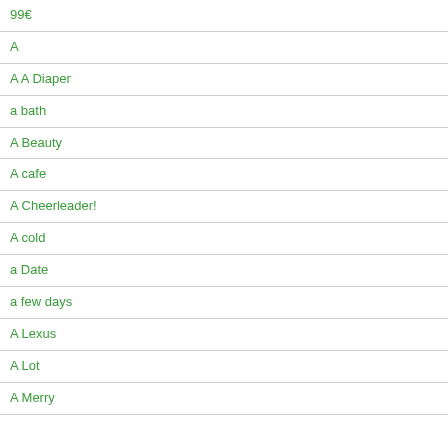99€
A
A A Diaper
a bath
A Beauty
A cafe
A Cheerleader!
A cold
a Date
a few days
A Lexus
A Lot
A Merry